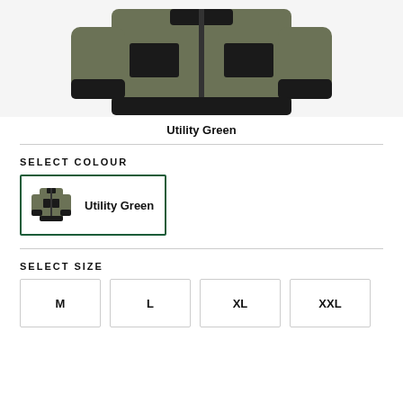[Figure (photo): Olive/utility green bomber jacket with black cuffs, collar trim, and pocket patches, shown from the front on white background, cropped at torso]
Utility Green
SELECT COLOUR
[Figure (photo): Small thumbnail of the utility green bomber jacket with Utility Green label next to it, inside a dark green bordered selection box]
SELECT SIZE
M
L
XL
XXL